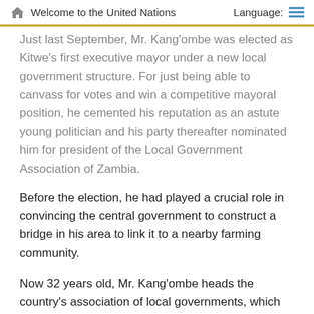Welcome to the United Nations   Language:
Just last September, Mr. Kang'ombe was elected as Kitwe's first executive mayor under a new local government structure. For just being able to canvass for votes and win a competitive mayoral position, he cemented his reputation as an astute young politician and his party thereafter nominated him for president of the Local Government Association of Zambia.
Before the election, he had played a crucial role in convincing the central government to construct a bridge in his area to link it to a nearby farming community.
Now 32 years old, Mr. Kang'ombe heads the country's association of local governments, which comprises all city and town councils in the country. His effective leadership skills are anchored in his ability to understand people's problems and articulate solutions. For example, when the